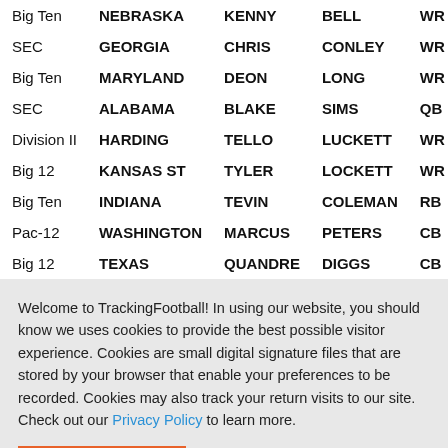| Conference | School | First | Last | Pos |
| --- | --- | --- | --- | --- |
| Big Ten | NEBRASKA | KENNY | BELL | WR |
| SEC | GEORGIA | CHRIS | CONLEY | WR |
| Big Ten | MARYLAND | DEON | LONG | WR |
| SEC | ALABAMA | BLAKE | SIMS | QB |
| Division II | HARDING | TELLO | LUCKETT | WR |
| Big 12 | KANSAS ST | TYLER | LOCKETT | WR |
| Big Ten | INDIANA | TEVIN | COLEMAN | RB |
| Pac-12 | WASHINGTON | MARCUS | PETERS | CB |
| Big 12 | TEXAS | QUANDRE | DIGGS | CB |
Welcome to TrackingFootball! In using our website, you should know we uses cookies to provide the best possible visitor experience. Cookies are small digital signature files that are stored by your browser that enable your preferences to be recorded. Cookies may also track your return visits to our site. Check out our Privacy Policy to learn more.